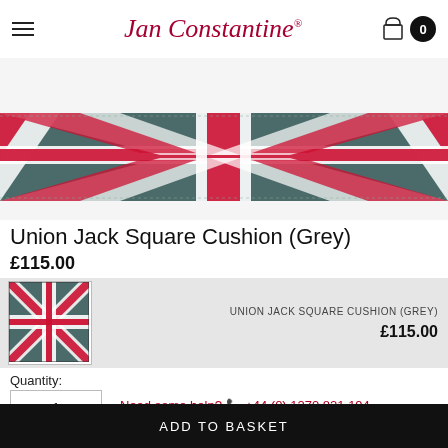Jan Constantine
[Figure (photo): Close-up of Union Jack Square Cushion in grey colorway, showing diagonal red, white, and grey stripes in a Union Jack pattern, photographed from above at an angle]
Union Jack Square Cushion (Grey)
£115.00
[Figure (photo): Small thumbnail of Union Jack Square Cushion (Grey) showing the full square cushion with Union Jack pattern in grey, red and white]
UNION JACK SQUARE CUSHION (GREY)
£115.00
Quantity:
1
Need some help? ☎ +44 (0) 1270 821 194
ADD TO BASKET